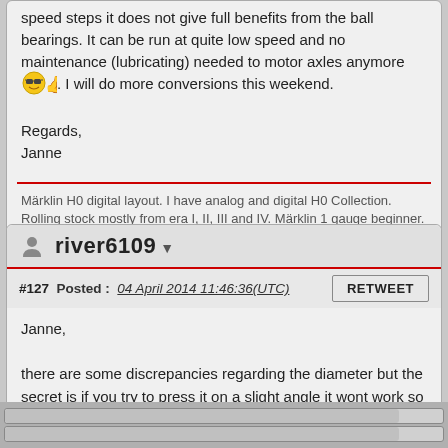speed steps it does not give full benefits from the ball bearings. It can be run at quite low speed and no maintenance (lubricating) needed to motor axles anymore. I will do more conversions this weekend.
Regards,
Janne
Märklin H0 digital layout. I have analog and digital H0 Collection. Rolling stock mostly from era I, II, III and IV. Märklin 1 gauge beginner.
river6109
#127  Posted :  04 April 2014 11:46:36(UTC)
RETWEET
Janne,

there are some discrepancies regarding the diameter but the secret is if you try to press it on a slight angle it wont work so it has to be completely level with the block, if you press it against a hard flat surface such as a desk top edge you should be able